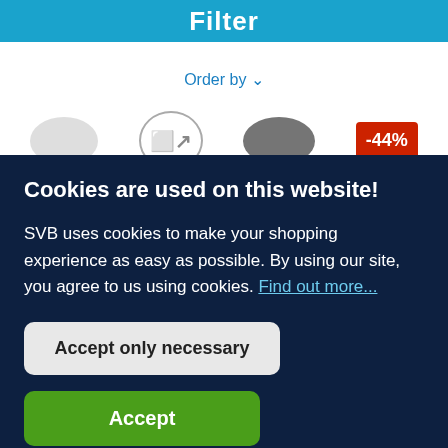Filter
Order by ∨
[Figure (screenshot): Product listing row with three partially visible product images: a light grey rounded mouse shape, a circular compare icon outline with arrows, a dark grey rounded mouse shape, and a red discount badge showing -44%]
Cookies are used on this website!
SVB uses cookies to make your shopping experience as easy as possible. By using our site, you agree to us using cookies. Find out more...
Accept only necessary
Accept